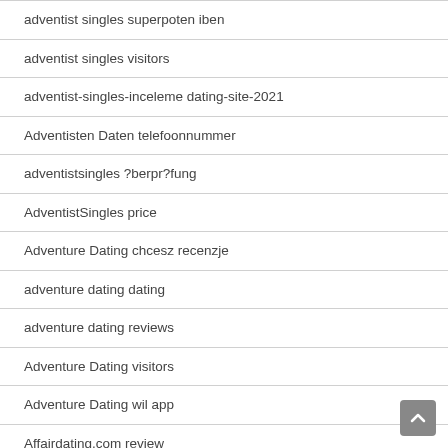adventist singles superpoten iben
adventist singles visitors
adventist-singles-inceleme dating-site-2021
Adventisten Daten telefoonnummer
adventistsingles ?berpr?fung
AdventistSingles price
Adventure Dating chcesz recenzje
adventure dating dating
adventure dating reviews
Adventure Dating visitors
Adventure Dating wil app
Affairdating.com review
affordable payday loans